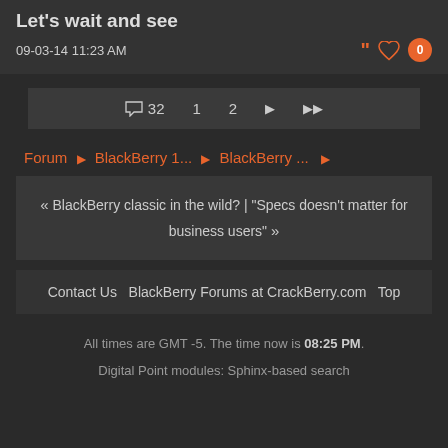Let's wait and see
09-03-14 11:23 AM
💬 32  1  2  ▶  ▶▶
Forum ▶ BlackBerry 1... ▶ BlackBerry ... ▶
« BlackBerry classic in the wild? | "Specs doesn't matter for business users" »
Contact Us  BlackBerry Forums at CrackBerry.com  Top
All times are GMT -5. The time now is 08:25 PM.
Digital Point modules: Sphinx-based search